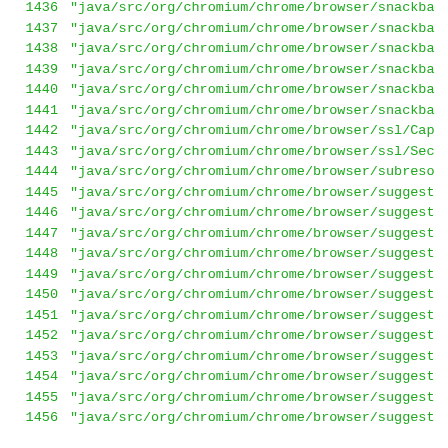1436  "java/src/org/chromium/chrome/browser/snackba
1437  "java/src/org/chromium/chrome/browser/snackba
1438  "java/src/org/chromium/chrome/browser/snackba
1439  "java/src/org/chromium/chrome/browser/snackba
1440  "java/src/org/chromium/chrome/browser/snackba
1441  "java/src/org/chromium/chrome/browser/snackba
1442  "java/src/org/chromium/chrome/browser/ssl/Cap
1443  "java/src/org/chromium/chrome/browser/ssl/Sec
1444  "java/src/org/chromium/chrome/browser/subreso
1445  "java/src/org/chromium/chrome/browser/suggest
1446  "java/src/org/chromium/chrome/browser/suggest
1447  "java/src/org/chromium/chrome/browser/suggest
1448  "java/src/org/chromium/chrome/browser/suggest
1449  "java/src/org/chromium/chrome/browser/suggest
1450  "java/src/org/chromium/chrome/browser/suggest
1451  "java/src/org/chromium/chrome/browser/suggest
1452  "java/src/org/chromium/chrome/browser/suggest
1453  "java/src/org/chromium/chrome/browser/suggest
1454  "java/src/org/chromium/chrome/browser/suggest
1455  "java/src/org/chromium/chrome/browser/suggest
1456  "java/src/org/chromium/chrome/browser/suggest